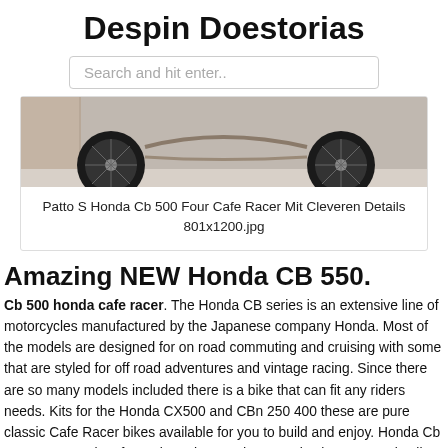Despin Doestorias
Search and hit enter..
[Figure (photo): Partial photo of a motorcycle (cafe racer style) wheels near a wall, cropped at top]
Patto S Honda Cb 500 Four Cafe Racer Mit Cleveren Details
801x1200.jpg
Amazing NEW Honda CB 550.
Cb 500 honda cafe racer. The Honda CB series is an extensive line of motorcycles manufactured by the Japanese company Honda. Most of the models are designed for on road commuting and cruising with some that are styled for off road adventures and vintage racing. Since there are so many models included there is a bike that can fit any riders needs. Kits for the Honda CX500 and CBn 250 400 these are pure classic Cafe Racer bikes available for you to build and enjoy. Honda Cb 1100 Motorcycle Information. The Honda CB series is an extensive line of motorcycles